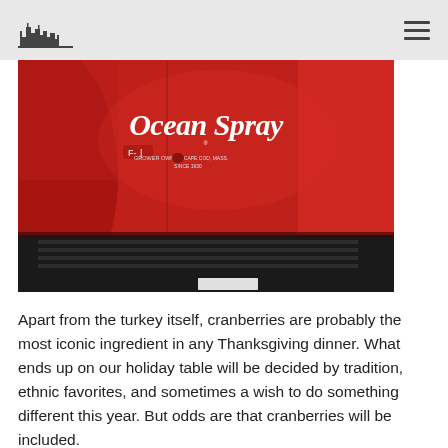[City skyline logo] [hamburger menu icon]
[Figure (photo): Close-up photo of a red Ocean Spray delivery truck side panel with the Ocean Spray logo in white script lettering, showing the lower portion of the truck door and a black metal step below.]
Apart from the turkey itself, cranberries are probably the most iconic ingredient in any Thanksgiving dinner. What ends up on our holiday table will be decided by tradition, ethnic favorites, and sometimes a wish to do something different this year. But odds are that cranberries will be included.